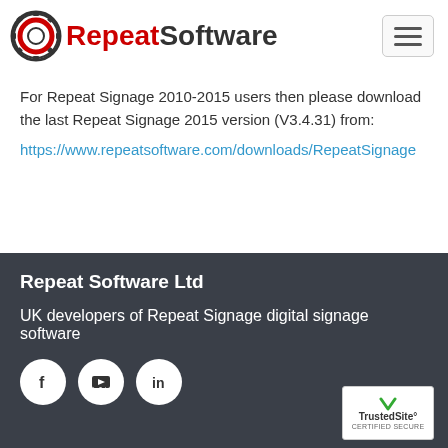Repeat Software
For Repeat Signage 2010-2015 users then please download the last Repeat Signage 2015 version (V3.4.31) from:
https://www.repeatsoftware.com/downloads/RepeatSignage
Repeat Software Ltd
UK developers of Repeat Signage digital signage software